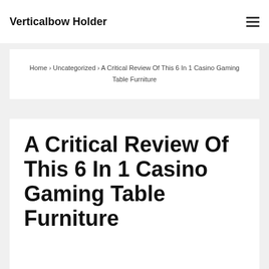Verticalbow Holder
Home › Uncategorized › A Critical Review Of This 6 In 1 Casino Gaming Table Furniture
A Critical Review Of This 6 In 1 Casino Gaming Table Furniture